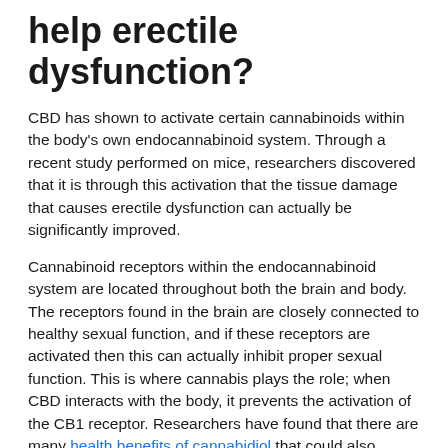help erectile dysfunction?
CBD has shown to activate certain cannabinoids within the body's own endocannabinoid system. Through a recent study performed on mice, researchers discovered that it is through this activation that the tissue damage that causes erectile dysfunction can actually be significantly improved.
Cannabinoid receptors within the endocannabinoid system are located throughout both the brain and body. The receptors found in the brain are closely connected to healthy sexual function, and if these receptors are activated then this can actually inhibit proper sexual function. This is where cannabis plays the role; when CBD interacts with the body, it prevents the activation of the CB1 receptor. Researchers have found that there are many health benefits of cannabidiol that could also potentially stop the onset of erectile dysfunction by using CBD to specifically block these receptors.
If we want to understand how CBD can actually assist with erectile dysfunction then we need to